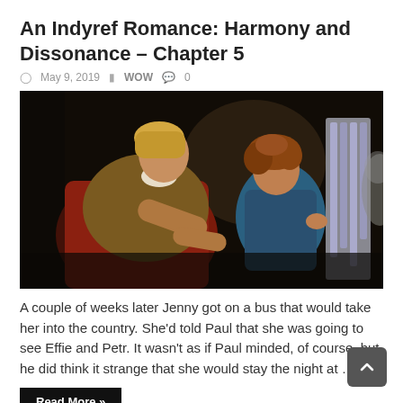An Indyref Romance: Harmony and Dissonance – Chapter 5
May 9, 2019  WOW  0
[Figure (illustration): A classical oil painting depicting two figures: a woman in red and brown garments leaning over, and a young child with curly auburn hair in a blue garment, appearing to interact near a pipe organ or similar instrument, against a dark background.]
A couple of weeks later Jenny got on a bus that would take her into the country. She'd told Paul that she was going to see Effie and Petr. It wasn't as if Paul minded, of course, but he did think it strange that she would stay the night at …